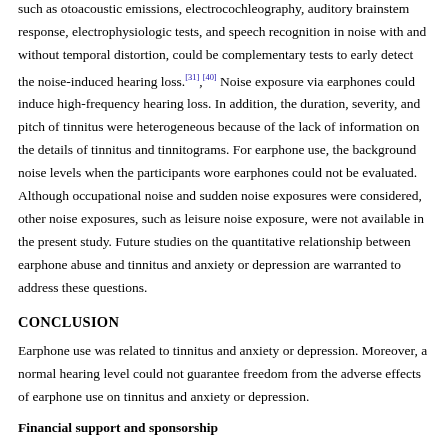such as otoacoustic emissions, electrocochleography, auditory brainstem response, electrophysiologic tests, and speech recognition in noise with and without temporal distortion, could be complementary tests to early detect the noise-induced hearing loss.[31],[40] Noise exposure via earphones could induce high-frequency hearing loss. In addition, the duration, severity, and pitch of tinnitus were heterogeneous because of the lack of information on the details of tinnitus and tinnitograms. For earphone use, the background noise levels when the participants wore earphones could not be evaluated. Although occupational noise and sudden noise exposures were considered, other noise exposures, such as leisure noise exposure, were not available in the present study. Future studies on the quantitative relationship between earphone abuse and tinnitus and anxiety or depression are warranted to address these questions.
CONCLUSION
Earphone use was related to tinnitus and anxiety or depression. Moreover, a normal hearing level could not guarantee freedom from the adverse effects of earphone use on tinnitus and anxiety or depression.
Financial support and sponsorship